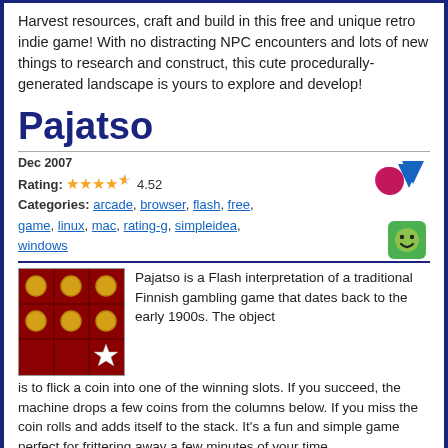Harvest resources, craft and build in this free and unique retro indie game! With no distracting NPC encounters and lots of new things to research and construct, this cute procedurally-generated landscape is yours to explore and develop!
Pajatso
Dec 2007
Rating: ★★★★★ 4.52
Categories: arcade, browser, flash, free, game, linux, mac, rating-g, simpleidea, windows
Pajatso is a Flash interpretation of a traditional Finnish gambling game that dates back to the early 1900s. The object is to flick a coin into one of the winning slots. If you succeed, the machine drops a few coins from the columns below. If you miss the coin rolls and adds itself to the stack. It's a fun and simple game perfect for frittering away a few minutes of your time.